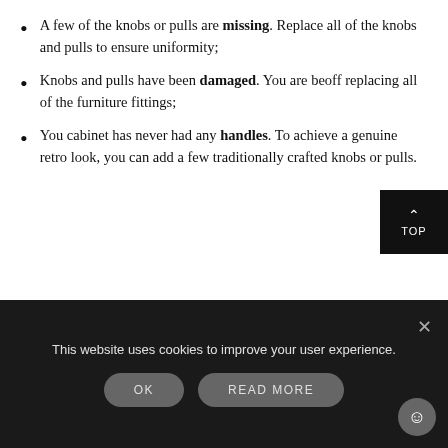A few of the knobs or pulls are missing. Replace all of the knobs and pulls to ensure uniformity;
Knobs and pulls have been damaged. You are better off replacing all of the furniture fittings;
You cabinet has never had any handles. To achieve a genuine retro look, you can add a few traditionally crafted knobs or pulls.
Our retro knobs and handles are created using
This website uses cookies to improve your user experience.